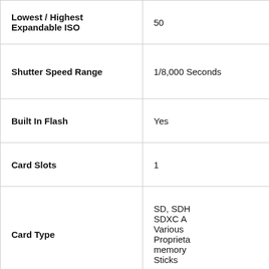| Specification | Value |
| --- | --- |
| Lowest / Highest Expandable ISO | 50 |
| Shutter Speed Range | 1/8,000 Seconds |
| Built In Flash | Yes |
| Card Slots | 1 |
| Card Type | SD, SDHC, SDXC A Various Proprietary memory Sticks |
| LCD Size | 2.95" |
| LCD Fixed, Swivel or Tilting | 3-Way T |